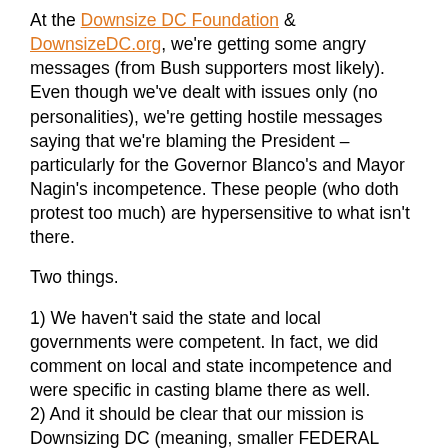At the Downsize DC Foundation & DownsizeDC.org, we're getting some angry messages (from Bush supporters most likely). Even though we've dealt with issues only (no personalities), we're getting hostile messages saying that we're blaming the President – particularly for the Governor Blanco's and Mayor Nagin's incompetence. These people (who doth protest too much) are hypersensitive to what isn't there.
Two things.
1) We haven't said the state and local governments were competent. In fact, we did comment on local and state incompetence and were specific in casting blame there as well.
2) And it should be clear that our mission is Downsizing DC (meaning, smaller FEDERAL government). Of course our emphasis is there and not on state and local governments.
But this is absolutely not about personalities, much as any of the folks writing might want it to be. Our criticisms would've been exactly the same regardless of who occupied the